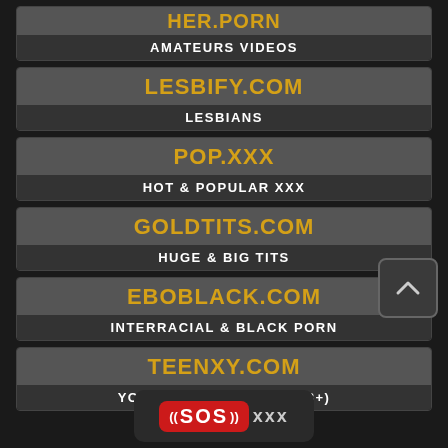HER.PORN | AMATEURS VIDEOS
LESBIFY.COM | LESBIANS
POP.XXX | HOT & POPULAR XXX
GOLDTITS.COM | HUGE & BIG TITS
EBOBLACK.COM | INTERRACIAL & BLACK PORN
TEENXY.COM | YOUNG & TEEN GIRLS (18+)
[Figure (logo): SOS XXX banner logo at the bottom of the page]